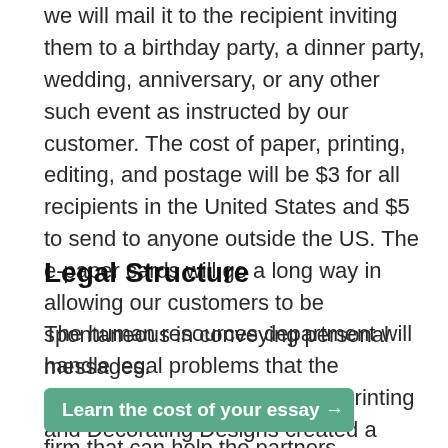we will mail it to the recipient inviting them to a birthday party, a dinner party, wedding, anniversary, or any other such event as instructed by our customer. The cost of paper, printing, editing, and postage will be $3 for all recipients in the United States and $5 to send to anyone outside the US. The e-paper cards will go a long way in allowing our customers to be spontaneous in conveying personal messages.
Legal Structure
The human resources department will handle legal problems that the company could face. Creative Printing and Decorating Designs created a limited liability company (LLC) to protect the owner's personal assets. Choosing the LLC, the owners will report their share of the
set up using a law firm that can help the partners understand how to file their